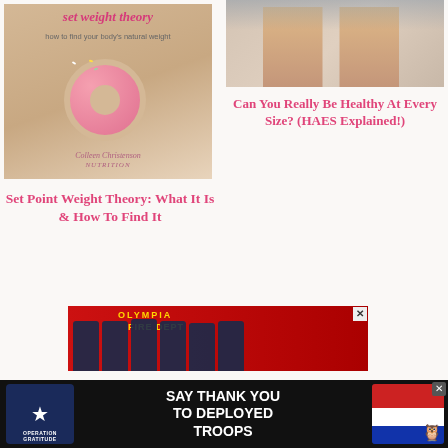[Figure (photo): Book/article cover image: 'set weight theory - how to find your body's natural weight' with person holding pink donut over a scale, by Colleen Christenson Nutrition]
Set Point Weight Theory: What It Is & How To Find It
[Figure (photo): Photo of two people sitting closely together, legs visible, wearing casual clothing]
Can You Really Be Healthy At Every Size? (HAES Explained!)
[Figure (photo): Photo of Olympia Fire Department personnel group photo in front of a red fire truck]
[Figure (photo): Advertisement: Operation Gratitude - Say Thank You To Deployed Troops, with logo and patriotic imagery]